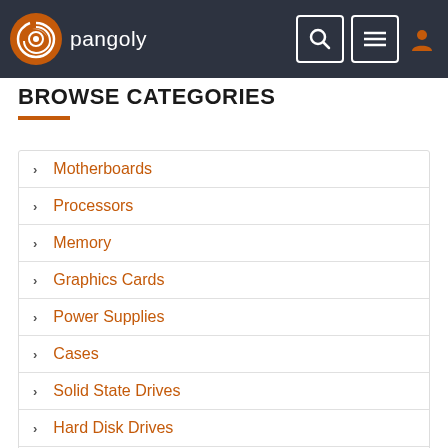pangoly
BROWSE CATEGORIES
Motherboards
Processors
Memory
Graphics Cards
Power Supplies
Cases
Solid State Drives
Hard Disk Drives
External Drives
Optical Units